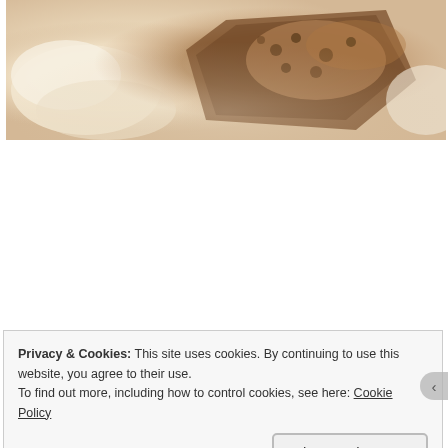[Figure (photo): Close-up photo of a slice of moist cake with cream/frosting on a plate, warm brown tones]
Look out for my blog in the week on how to decorate this moist cake🤗
Privacy & Cookies: This site uses cookies. By continuing to use this website, you agree to their use.
To find out more, including how to control cookies, see here: Cookie Policy
Close and accept